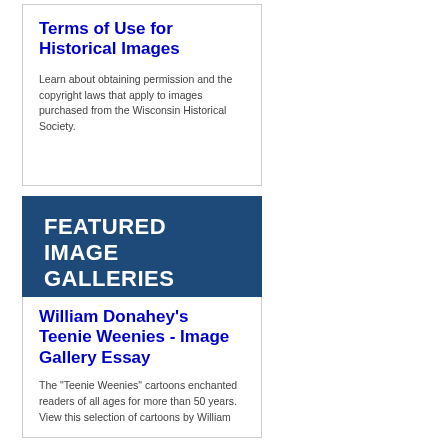Terms of Use for Historical Images
Learn about obtaining permission and the copyright laws that apply to images purchased from the Wisconsin Historical Society.
[Figure (other): Dark blue banner with white bold uppercase text reading FEATURED IMAGE GALLERIES]
William Donahey's Teenie Weenies - Image Gallery Essay
The "Teenie Weenies" cartoons enchanted readers of all ages for more than 50 years. View this selection of cartoons by William